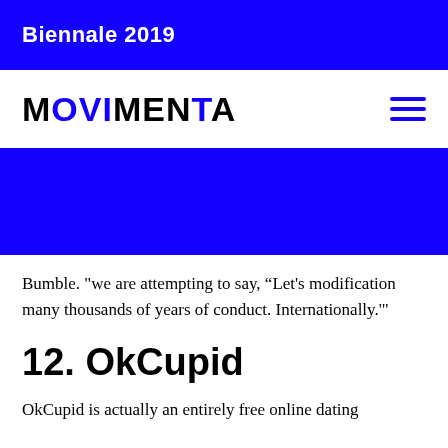Biennale 2019
MOVIMENTA
Bumble. "we are attempting to say, “Let's modification many thousands of years of conduct. Internationally.'"
12. OkCupid
OkCupid is actually an entirely free online dating